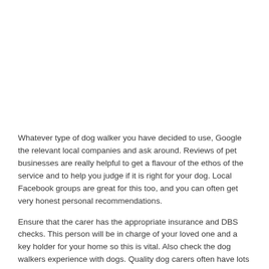Whatever type of dog walker you have decided to use, Google the relevant local companies and ask around. Reviews of pet businesses are really helpful to get a flavour of the ethos of the service and to help you judge if it is right for your dog. Local Facebook groups are great for this too, and you can often get very honest personal recommendations.
Ensure that the carer has the appropriate insurance and DBS checks. This person will be in charge of your loved one and a key holder for your home so this is vital. Also check the dog walkers experience with dogs. Quality dog carers often have lots of experience with dogs with many issues so will have the skills to be able to support and reassure your pet in your absence.